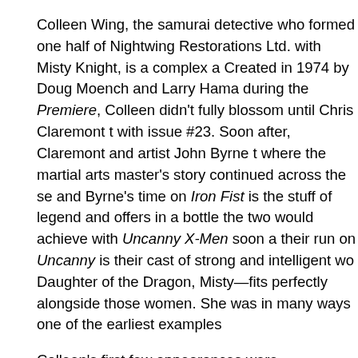Colleen Wing, the samurai detective who formed one half of Nightwing Restorations Ltd. with Misty Knight, is a complex a Created in 1974 by Doug Moench and Larry Hama during the Premiere, Colleen didn't fully blossom until Chris Claremont t with issue #23. Soon after, Claremont and artist John Byrne t where the martial arts master's story continued across the se and Byrne's time on Iron Fist is the stuff of legend and offers in a bottle the two would achieve with Uncanny X-Men soon a their run on Uncanny is their cast of strong and intelligent wo Daughter of the Dragon, Misty—fits perfectly alongside those women. She was in many ways one of the earliest examples
Colleen's first few appearances were inconsistently written. S a great character but they weren't yet assembled in the right colorists seemed to be experimenting with the character, as i black with blue highlights and in the next it was chestnut bro and during his time writing Iron Fist would build Colleen into a expert swordswoman and samurai, Colleen was also a skille chi granted her enhanced strength and accelerated healing.